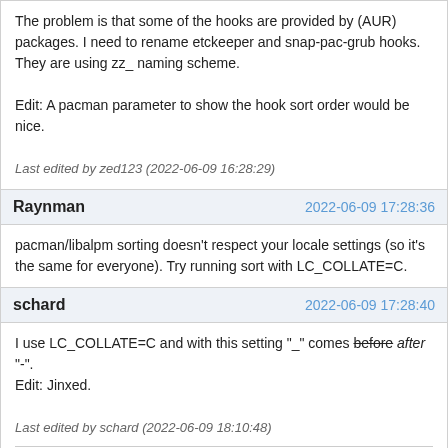The problem is that some of the hooks are provided by (AUR) packages. I need to rename etckeeper and snap-pac-grub hooks. They are using zz_ naming scheme.

Edit: A pacman parameter to show the hook sort order would be nice.
Last edited by zed123 (2022-06-09 16:28:29)
Raynman	2022-06-09 17:28:36
pacman/libalpm sorting doesn't respect your locale settings (so it's the same for everyone). Try running sort with LC_COLLATE=C.
schard	2022-06-09 17:28:40
I use LC_COLLATE=C and with this setting "_" comes before after "-".
Edit: Jinxed.
Last edited by schard (2022-06-09 18:10:48)
Солідарність з Україною
zed123	2022-06-09 17:55:29